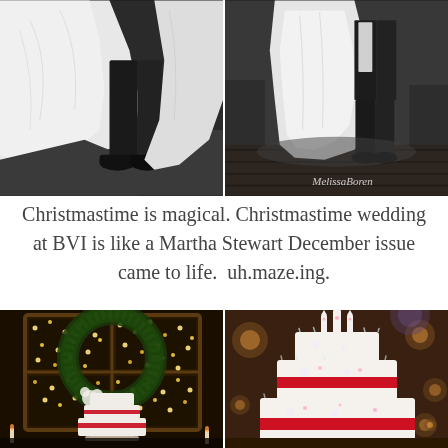[Figure (photo): Two black and white wedding photos side by side showing bride in white gown and groom in dark suit, lower body/dress detail. Right photo has 'MelissaBoren' watermark.]
Christmastime is magical. Christmastime wedding at BVI is like a Martha Stewart December issue came to life.  uh.maze.ing.
[Figure (photo): Two color photos side by side of a Christmas wedding: left shows a white wedding cake in front of a large wreath with fairy lights in a rustic venue; right shows a close-up of a white tiered wedding cake with red ribbon bands and snowflake decorations and an ornate castle topper.]